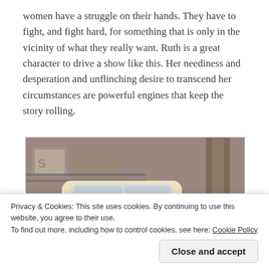women have a struggle on their hands. They have to fight, and fight hard, for something that is only in the vicinity of what they really want. Ruth is a great character to drive a show like this. Her neediness and desperation and unflinching desire to transcend her circumstances are powerful engines that keep the story rolling.
[Figure (photo): A vintage cream/yellow colored car photographed from the rear, parked on a street with graffiti-covered walls in the background.]
Privacy & Cookies: This site uses cookies. By continuing to use this website, you agree to their use.
To find out more, including how to control cookies, see here: Cookie Policy
Close and accept